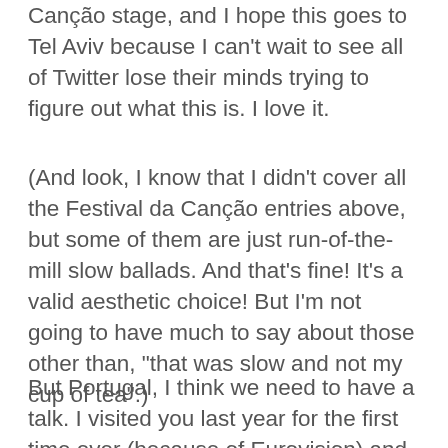Canção stage, and I hope this goes to Tel Aviv because I can't wait to see all of Twitter lose their minds trying to figure out what this is. I love it.
(And look, I know that I didn't cover all the Festival da Canção entries above, but some of them are just run-of-the-mill slow ballads. And that's fine! It's a valid aesthetic choice! But I'm not going to have much to say about those other than, "that was slow and not my cup of tea".)
But Portugal, I think we need to have a talk. I visited you last year for the first time ever (because of Eurovision) and you were spectacular. Your weather was divine, your culture was fantastic, and your food was delicious. It was a dream vacation, you were